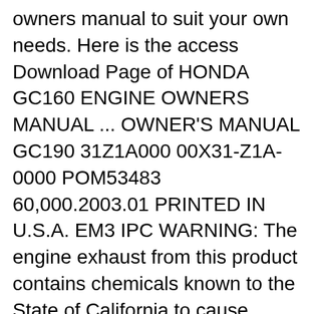owners manual to suit your own needs. Here is the access Download Page of HONDA GC160 ENGINE OWNERS MANUAL ... OWNER'S MANUAL GC190 31Z1A000 00X31-Z1A-0000 POM53483 60,000.2003.01 PRINTED IN U.S.A. EM3 IPC WARNING: The engine exhaust from this product contains chemicals known to the State of California to cause cancer, birth defects or other reproductive harm. DANGER You WILL be KILLED or SERIOUSLY HURT if you don't follow instructions. WARNING
View and Download Honda GC190 owner's manual online. GC190 Engine pdf manual download. OWNER'S MANUAL GC190 31Z1A000 00X31-Z1A-0000 POM53483 60,000.2003.01 ...